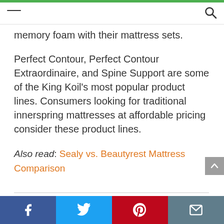memory foam with their mattress sets.
Perfect Contour, Perfect Contour Extraordinaire, and Spine Support are some of the King Koil's most popular product lines. Consumers looking for traditional innerspring mattresses at affordable pricing consider these product lines.
Also read: Sealy vs. Beautyrest Mattress Comparison